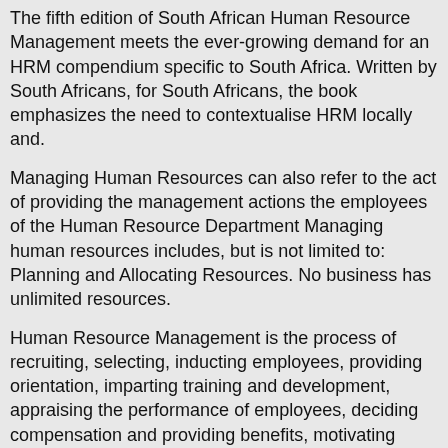The fifth edition of South African Human Resource Management meets the ever-growing demand for an HRM compendium specific to South Africa. Written by South Africans, for South Africans, the book emphasizes the need to contextualise HRM locally and.
Managing Human Resources can also refer to the act of providing the management actions the employees of the Human Resource Department Managing human resources includes, but is not limited to: Planning and Allocating Resources. No business has unlimited resources.
Human Resource Management is the process of recruiting, selecting, inducting employees, providing orientation, imparting training and development, appraising the performance of employees, deciding compensation and providing benefits, motivating employees, maintaining proper relations with employees and their trade unions, ensuring employees safety, welfare and healthy measures in compliance.
Details Managing human resources in China PDF
process is not the only thing that's done in performance management. Performance management is the process of identifying, measuring, managing, and developing the perfor -